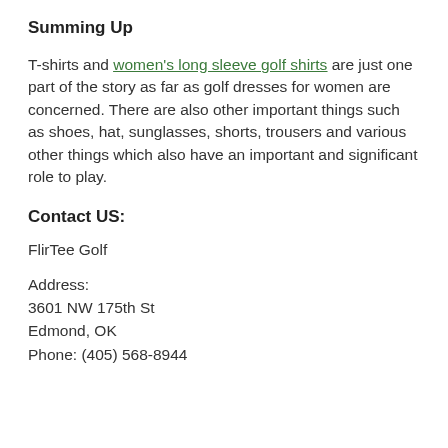Summing Up
T-shirts and women's long sleeve golf shirts are just one part of the story as far as golf dresses for women are concerned. There are also other important things such as shoes, hat, sunglasses, shorts, trousers and various other things which also have an important and significant role to play.
Contact US:
FlirTee Golf
Address:
3601 NW 175th St
Edmond, OK
Phone: (405) 568-8944